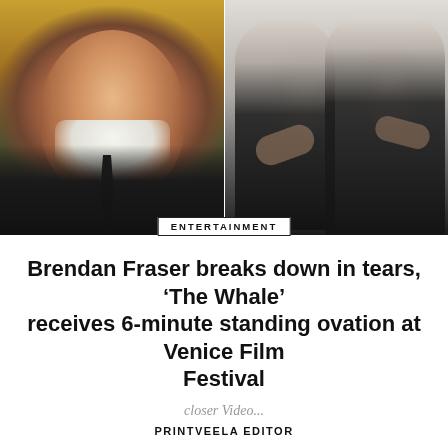[Figure (photo): Two side-by-side photos: left shows Brendan Fraser smiling in a dark suit at a red carpet event; right shows two men in dark suits embracing, one bald with glasses hugging a larger man who is smiling with eyes closed.]
ENTERTAINMENT
Brendan Fraser breaks down in tears, ‘The Whale’ receives 6-minute standing ovation at Venice Film Festival
closer Video...
PRINTVEELA EDITOR